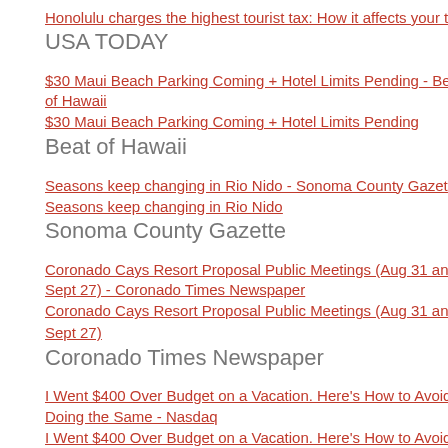Honolulu charges the highest tourist tax: How it affects your trip - USA TODAY
$30 Maui Beach Parking Coming + Hotel Limits Pending - Beat of Hawaii
Seasons keep changing in Rio Nido - Sonoma County Gazette
Coronado Cays Resort Proposal Public Meetings (Aug 31 and Sept 27) - Coronado Times Newspaper
I Went $400 Over Budget on a Vacation. Here's How to Avoid Doing the Same - Nasdaq